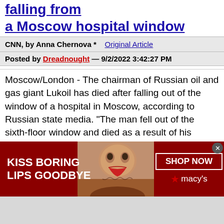falling from a Moscow hospital window
CNN, by Anna Chernova *    Original Article
Posted by Dreadnought — 9/2/2022 3:42:27 PM
Moscow/London - The chairman of Russian oil and gas giant Lukoil has died after falling out of the window of a hospital in Moscow, according to Russian state media. "The man fell out of the sixth-floor window and died as a result of his injuries," a source told TASS. Lukoil confirmed the death of its chairman on Thursday in a statement published on its website. Ravil Maganov "passed away following a severe illness," Lukoil said, making no mention of a fall. "Maganov immensely contributed to the development of not only the company,
[Figure (photo): Macy's advertisement banner: 'KISS BORING LIPS GOODBYE' with a woman's face and red lips, SHOP NOW button and Macy's star logo on dark red background]